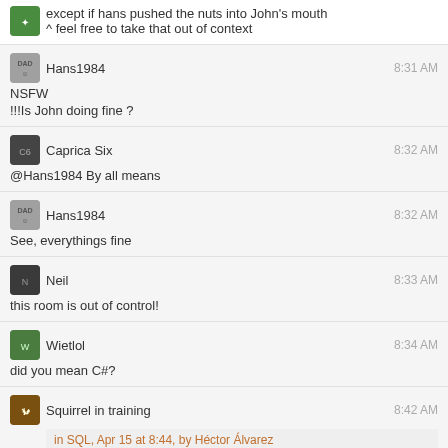except if hans pushed the nuts into John's mouth
^ feel free to take that out of context
Hans1984 8:31 AM
NSFW
!!!Is John doing fine ?
Caprica Six 8:32 AM
@Hans1984 By all means
Hans1984 8:32 AM
See, everythings fine
Neil 8:33 AM
this room is out of control!
Wietlol 8:34 AM
did you mean C#?
Squirrel in training 8:42 AM
in SQL, Apr 15 at 8:44, by Héctor Álvarez
Good, I finally found a job
@HéctorÁlvarez And that message still is on the star board!
mr5 8:43 AM
@Wietlol @Neil please take a look at my revised gist: